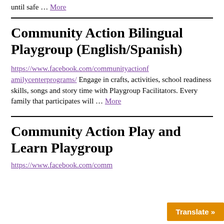until safe … More
Community Action Bilingual Playgroup (English/Spanish)
https://www.facebook.com/communityactionfamilycenterprograms/ Engage in crafts, activities, school readiness skills, songs and story time with Playgroup Facilitators. Every family that participates will … More
Community Action Play and Learn Playgroup
https://www.facebook.com/comm